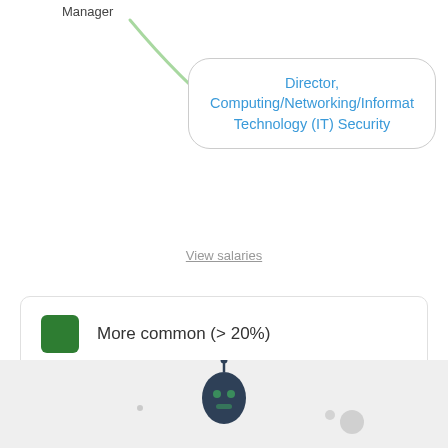Manager
[Figure (organizational-chart): Green curved line connecting Manager node to Director tooltip bubble]
Director, Computing/Networking/Information Technology (IT) Security
View salaries
More common (> 20%)
Somewhat common (8 - 20%)
Less common (< 8%)
[Figure (illustration): Robot/mascot illustration at bottom on grey background]